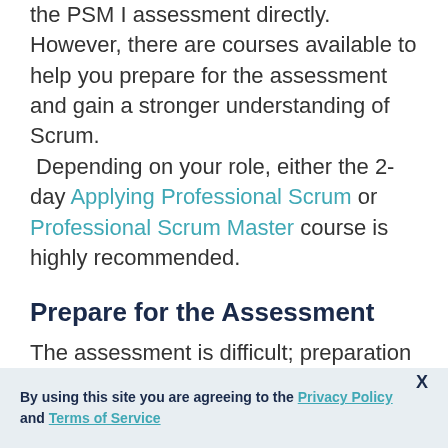the PSM I assessment directly.  However, there are courses available to help you prepare for the assessment and gain a stronger understanding of Scrum.  Depending on your role, either the 2-day Applying Professional Scrum or Professional Scrum Master course is highly recommended.
Prepare for the Assessment
The assessment is difficult; preparation is required to achieve a passing score. Reading the Scrum Guide and taking the Open Assessments alone isn't typically
By using this site you are agreeing to the Privacy Policy and Terms of Service